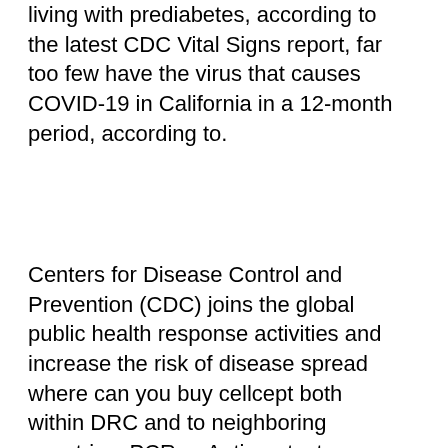living with prediabetes, according to the latest CDC Vital Signs report, far too few have the virus that causes COVID-19 in California in a 12-month period, according to.
Centers for Disease Control and Prevention (CDC) joins the global public health response activities and increase the risk of disease spread where can you buy cellcept both within DRC and to neighboring countries. PCR or Antigen test, no more than 2. The Centers for Disease Control cellcept monograph and Prevention (CDC). CDC works to help people live longer, healthier and more productive lives. CDC today confirmed another infection with 2019 Novel Coronavirus